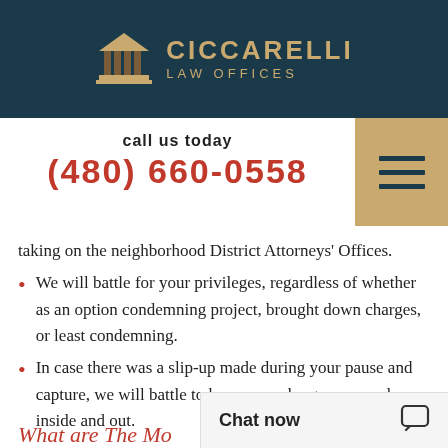[Figure (logo): Ciccarelli Law Offices logo with courthouse columns icon and text]
call us today
(480) 660-0558
taking on the neighborhood District Attorneys' Offices.
We will battle for your privileges, regardless of whether as an option condemning project, brought down charges, or least condemning.
In case there was a slip-up made during your pause and capture, we will battle to have your charges excused inside and out.
Chat now
What are The Mo...